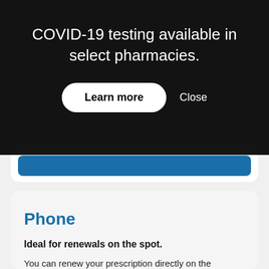COVID-19 testing available in select pharmacies.
Learn more
Close
[Figure (screenshot): Partially visible card with blue button bar at bottom]
Phone
Ideal for renewals on the spot.
You can renew your prescription directly on the